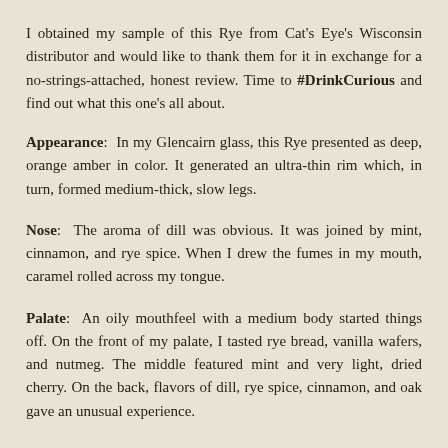I obtained my sample of this Rye from Cat's Eye's Wisconsin distributor and would like to thank them for it in exchange for a no-strings-attached, honest review. Time to #DrinkCurious and find out what this one's all about.
Appearance: In my Glencairn glass, this Rye presented as deep, orange amber in color. It generated an ultra-thin rim which, in turn, formed medium-thick, slow legs.
Nose: The aroma of dill was obvious. It was joined by mint, cinnamon, and rye spice. When I drew the fumes in my mouth, caramel rolled across my tongue.
Palate: An oily mouthfeel with a medium body started things off. On the front of my palate, I tasted rye bread, vanilla wafers, and nutmeg. The middle featured mint and very light, dried cherry. On the back, flavors of dill, rye spice, cinnamon, and oak gave an unusual experience.